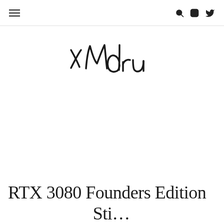Navigation header with hamburger menu, search, instagram, and twitter icons
[Figure (logo): Handwritten/script style logo reading 'xMdru' or similar stylized text in black ink]
RTX 3080 Founders Edition Sti...